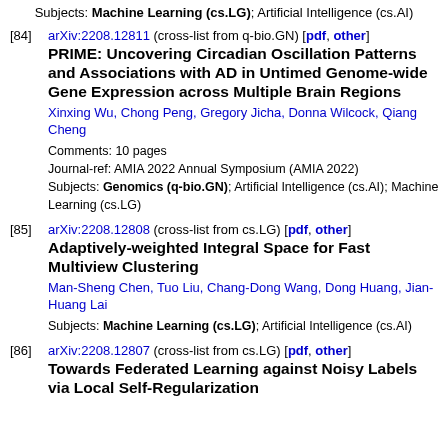Subjects: Machine Learning (cs.LG); Artificial Intelligence (cs.AI)
[84] arXiv:2208.12811 (cross-list from q-bio.GN) [pdf, other]
PRIME: Uncovering Circadian Oscillation Patterns and Associations with AD in Untimed Genome-wide Gene Expression across Multiple Brain Regions
Xinxing Wu, Chong Peng, Gregory Jicha, Donna Wilcock, Qiang Cheng
Comments: 10 pages
Journal-ref: AMIA 2022 Annual Symposium (AMIA 2022)
Subjects: Genomics (q-bio.GN); Artificial Intelligence (cs.AI); Machine Learning (cs.LG)
[85] arXiv:2208.12808 (cross-list from cs.LG) [pdf, other]
Adaptively-weighted Integral Space for Fast Multiview Clustering
Man-Sheng Chen, Tuo Liu, Chang-Dong Wang, Dong Huang, Jian-Huang Lai
Subjects: Machine Learning (cs.LG); Artificial Intelligence (cs.AI)
[86] arXiv:2208.12807 (cross-list from cs.LG) [pdf, other]
Towards Federated Learning against Noisy Labels via Local Self-Regularization